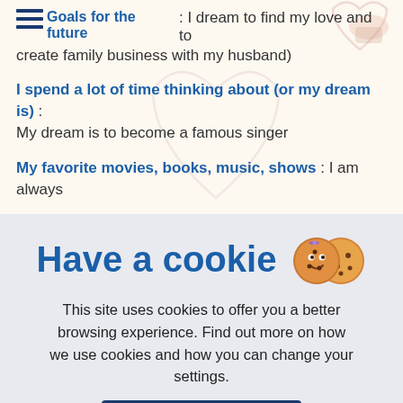Goals for the future : I dream to find my love and to create family business with my husband)
I spend a lot of time thinking about (or my dream is) : My dream is to become a famous singer
My favorite movies, books, music, shows : I am always ... my
Have a cookie
This site uses cookies to offer you a better browsing experience. Find out more on how we use cookies and how you can change your settings.
Accept All
Cookie settings page